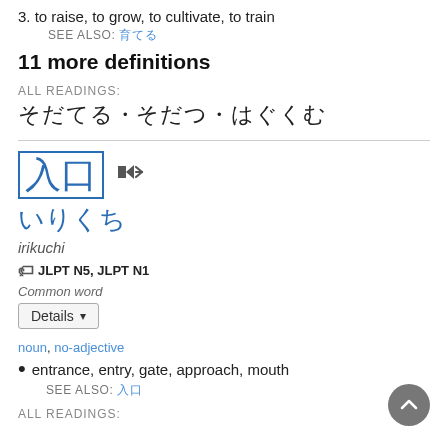3. to raise, to grow, to cultivate, to train
SEE ALSO: 育てる
11 more definitions
ALL READINGS:
そだてる・そだつ・はぐくむ
入口 (speaker icon)
いりくち
irikuchi
JLPT N5, JLPT N1
Common word
Details
noun, no-adjective
entrance, entry, gate, approach, mouth
SEE ALSO: 入口
ALL READINGS: